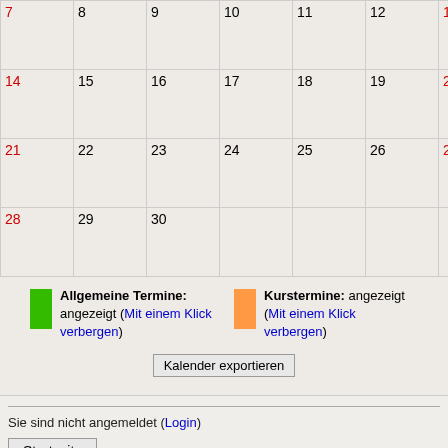| Mo | Di | Mi | Do | Fr | Sa | So |
| --- | --- | --- | --- | --- | --- | --- |
| 7 | 8 | 9 | 10 | 11 | 12 | 13 |
| 14 | 15 | 16 | 17 | 18 | 19 | 20 |
| 21 | 22 | 23 | 24 | 25 | 26 | 27 |
| 28 | 29 | 30 |  |  |  |  |
Allgemeine Termine: angezeigt (Mit einem Klick verbergen)   Kurstermine: angezeigt (Mit einem Klick verbergen)
Kalender exportieren
Sie sind nicht angemeldet (Login)
Startseite